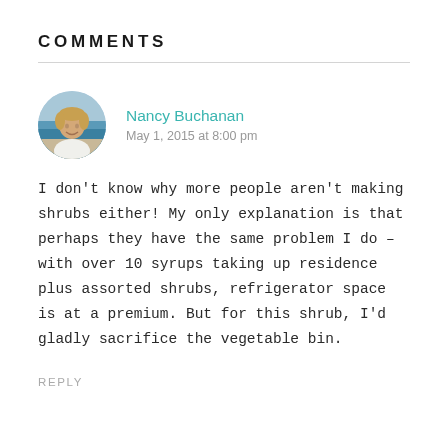COMMENTS
Nancy Buchanan
May 1, 2015 at 8:00 pm
I don't know why more people aren't making shrubs either! My only explanation is that perhaps they have the same problem I do – with over 10 syrups taking up residence plus assorted shrubs, refrigerator space is at a premium. But for this shrub, I'd gladly sacrifice the vegetable bin.
REPLY